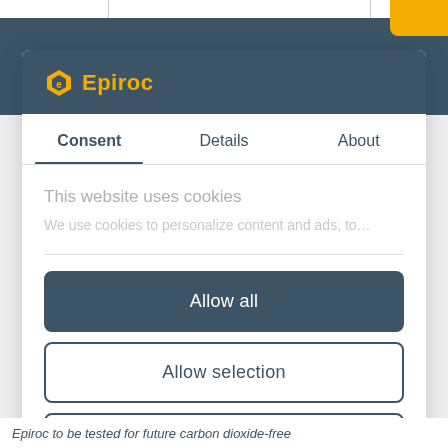[Figure (logo): Epiroc logo with hexagonal icon in yellow and company name in yellow on dark blue/grey background]
Consent	Details	About
This website uses cookies
We use cookies to personalize content and ads, to…
Allow all
Allow selection
Deny
Epiroc to be tested for future carbon dioxide-free